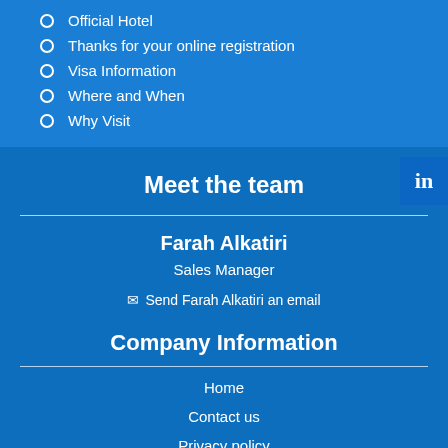Official Hotel
Thanks for your online registration
Visa Information
Where and When
Why Visit
Meet the team
Farah Alkatiri
Sales Manager
Send Farah Alkatiri an email
Company Information
Home
Contact us
Privacy policy
Cookie policy